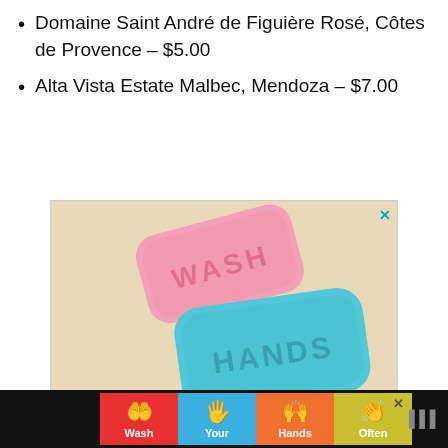Domaine Saint André de Figuière Rosé, Côtes de Provence – $5.00
Alta Vista Estate Malbec, Mendoza – $7.00
[Figure (photo): Two bars of soap with embossed text. A pink soap bar reads 'WASH' and a teal/turquoise bar reads 'HANDS', surrounded by soap bubbles on a beige background.]
[Figure (infographic): Advertisement banner showing 'Wash Your Hands Often' with four colored hand icons on colored tile backgrounds (red, blue, orange, yellow) on a dark background.]